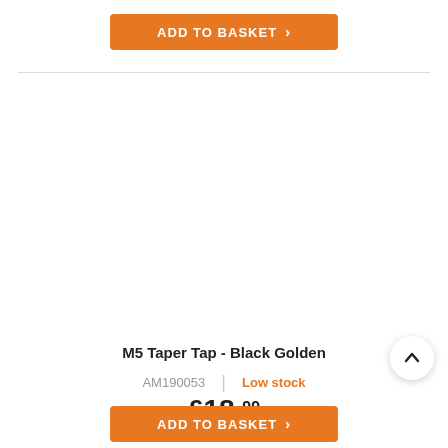[Figure (other): Orange 'ADD TO BASKET' button with chevron at top of page]
[Figure (other): Empty product image area (white space)]
M5 Taper Tap - Black Golden
AM190053 | Low stock
£18.99
[Figure (other): Orange 'ADD TO BASKET' button with chevron at bottom of page]
[Figure (other): Back to top chevron button (circular, white with shadow)]